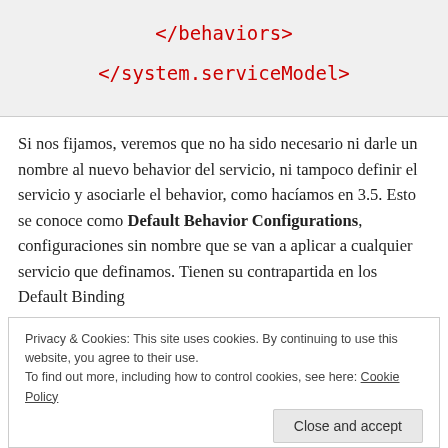[Figure (screenshot): Code block showing XML closing tags: </behaviors> and </system.serviceModel> in red monospace font on light gray background]
Si nos fijamos, veremos que no ha sido necesario ni darle un nombre al nuevo behavior del servicio, ni tampoco definir el servicio y asociarle el behavior, como hacíamos en 3.5. Esto se conoce como Default Behavior Configurations, configuraciones sin nombre que se van a aplicar a cualquier servicio que definamos. Tienen su contrapartida en los Default Binding
Privacy & Cookies: This site uses cookies. By continuing to use this website, you agree to their use. To find out more, including how to control cookies, see here: Cookie Policy